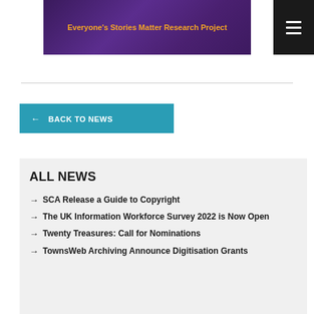[Figure (screenshot): Purple banner with text 'Everyone's Stories Matter Research Project']
← BACK TO NEWS
ALL NEWS
→ SCA Release a Guide to Copyright
→ The UK Information Workforce Survey 2022 is Now Open
→ Twenty Treasures: Call for Nominations
→ TownsWeb Archiving Announce Digitisation Grants